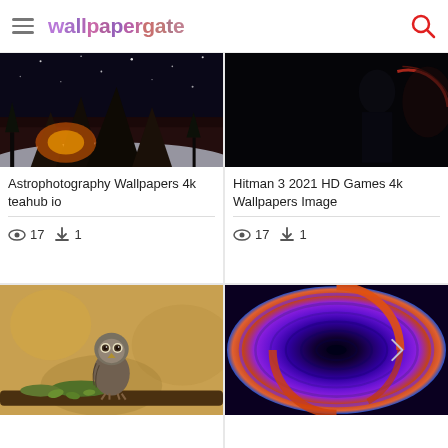wallpapergate
[Figure (photo): Astrophotography landscape with rocky formations, snow, sunset/milky way sky]
Astrophotography Wallpapers 4k teahub io
17  1
[Figure (photo): Dark silhouette figure, Hitman 3 2021 game wallpaper]
Hitman 3 2021 HD Games 4k Wallpapers Image
17  1
[Figure (photo): Small owl perched on mossy branch with autumn background]
[Figure (photo): Circular tunnel structure with blue and orange lights, scientific accelerator]